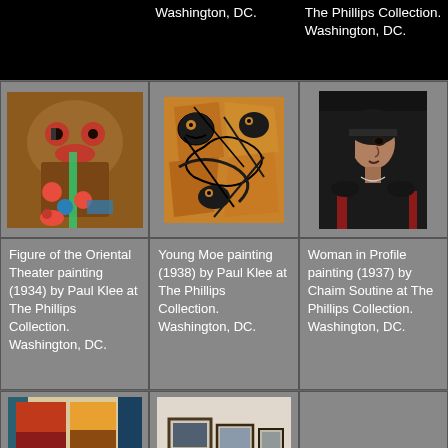Washington, DC.
The Phillips Collection. Washington, DC.
[Figure (photo): Figure of the Oriental Theater painting by Paul Klee, showing abstract figures with red, blue, and brown tones]
[Figure (photo): Young Moe painting by Paul Klee (1938), orange-toned abstract figures with black line work]
[Figure (photo): Woman in Profile painting by Chaim Soutine (1937), dark portrait of a woman in black clothing]
Figure of the Oriental Theater painting (1934) by Paul Klee at The Phillips Collection. Washington, DC.
Young Moe painting (1938) by Paul Klee at The Phillips Collection. Washington, DC.
Woman in Profile painting (1937) by Chaim Soutine at The Phillips Collection. Washington, DC.
[Figure (photo): Rothko Room at The Phillips Collection showing large color field paintings on white walls with a bench]
[Figure (photo): Gallery room showing framed photographic prints on white walls]
Rothko Room at
Photographic